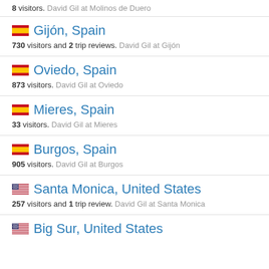8 visitors. David Gil at Molinos de Duero
Gijón, Spain — 730 visitors and 2 trip reviews. David Gil at Gijón
Oviedo, Spain — 873 visitors. David Gil at Oviedo
Mieres, Spain — 33 visitors. David Gil at Mieres
Burgos, Spain — 905 visitors. David Gil at Burgos
Santa Monica, United States — 257 visitors and 1 trip review. David Gil at Santa Monica
Big Sur, United States